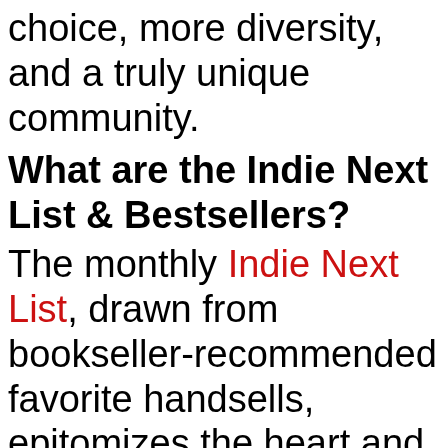choice, more diversity, and a truly unique community.
What are the Indie Next List & Bestsellers?
The monthly Indie Next List, drawn from bookseller-recommended favorite handsells, epitomizes the heart and soul of passionate bookselling. The weekly Indie Bestseller Lists are most current snapshot of what's selling in indie bookstores nationwide. View both